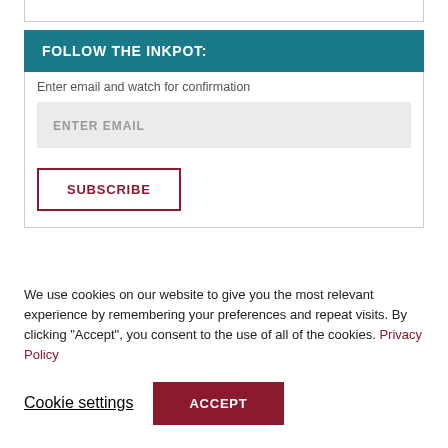FOLLOW THE INKPOT:
Enter email and watch for confirmation
ENTER EMAIL
SUBSCRIBE
THE INKPOT/MEAC SOCIALS:
We use cookies on our website to give you the most relevant experience by remembering your preferences and repeat visits. By clicking “Accept”, you consent to the use of all of the cookies. Privacy Policy
Cookie settings
ACCEPT